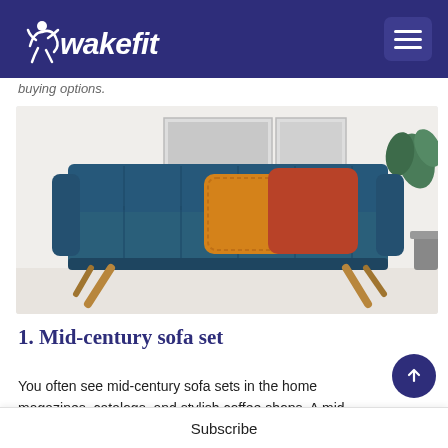wakefit
buying options.
[Figure (photo): A tufted navy blue mid-century modern sofa with wooden splayed legs, decorated with an orange pillow and a rust/terracotta pillow, set against a white interior background with a plant and a framed artwork on the wall.]
1. Mid-century sofa set
You often see mid-century sofa sets in the home magazines, catalogs, and stylish coffee shops. A mid
Subscribe